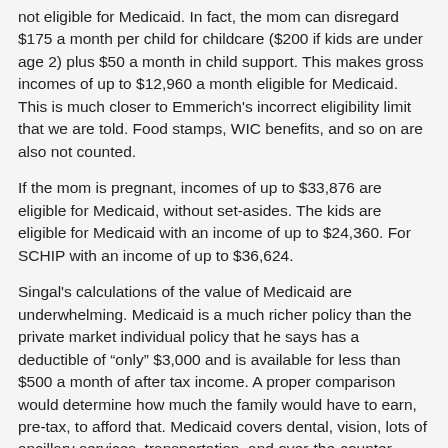not eligible for Medicaid. In fact, the mom can disregard $175 a month per child for childcare ($200 if kids are under age 2) plus $50 a month in child support. This makes gross incomes of up to $12,960 a month eligible for Medicaid. This is much closer to Emmerich's incorrect eligibility limit that we are told. Food stamps, WIC benefits, and so on are also not counted.
If the mom is pregnant, incomes of up to $33,876 are eligible for Medicaid, without set-asides. The kids are eligible for Medicaid with an income of up to $24,360. For SCHIP with an income of up to $36,624.
Singal's calculations of the value of Medicaid are underwhelming. Medicaid is a much richer policy than the private market individual policy that he says has a deductible of “only” $3,000 and is available for less than $500 a month of after tax income. A proper comparison would determine how much the family would have to earn, pre-tax, to afford that. Medicaid covers dental, vision, lots of ancillary services, transportation, and over-the-counter drugs. None of these are covered in the private policy.
The good news? A writer for the New Republic obviously knows that individual policies exist and that people can buy health insurance on their own. This is progress.